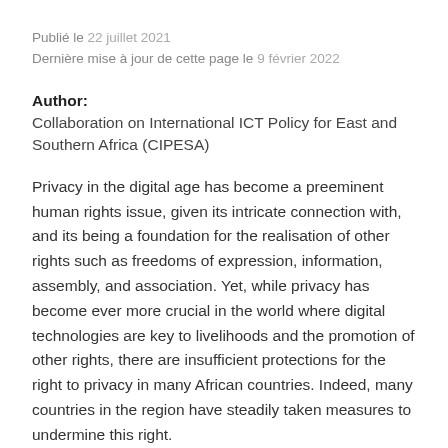Publié le 22 juillet 2021
Dernière mise à jour de cette page le 9 février 2022
Author:
Collaboration on International ICT Policy for East and Southern Africa (CIPESA)
Privacy in the digital age has become a preeminent human rights issue, given its intricate connection with, and its being a foundation for the realisation of other rights such as freedoms of expression, information, assembly, and association. Yet, while privacy has become ever more crucial in the world where digital technologies are key to livelihoods and the promotion of other rights, there are insufficient protections for the right to privacy in many African countries. Indeed, many countries in the region have steadily taken measures to undermine this right.